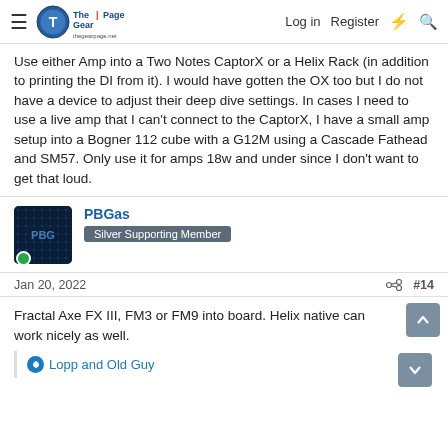The Gear Page — Log in | Register
Use either Amp into a Two Notes CaptorX or a Helix Rack (in addition to printing the DI from it). I would have gotten the OX too but I do not have a device to adjust their deep dive settings. In cases I need to use a live amp that I can't connect to the CaptorX, I have a small amp setup into a Bogner 112 cube with a G12M using a Cascade Fathead and SM57. Only use it for amps 18w and under since I don't want to get that loud.
PBGas
Silver Supporting Member
Jan 20, 2022  #14
Fractal Axe FX III, FM3 or FM9 into board. Helix native can work nicely as well.
Lopp and Old Guy